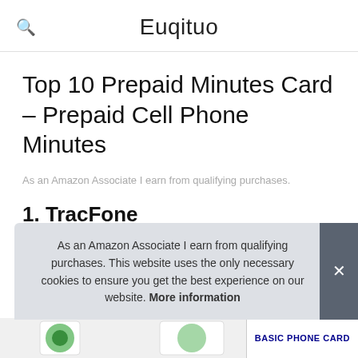Euqituo
Top 10 Prepaid Minutes Card – Prepaid Cell Phone Minutes
As an Amazon Associate I earn from qualifying purchases.
1. TracFone
#ad
As an Amazon Associate I earn from qualifying purchases. This website uses the only necessary cookies to ensure you get the best experience on our website. More information
[Figure (screenshot): Bottom image strip showing TracFone product image and BASIC PHONE CARD label]
BASIC PHONE CARD